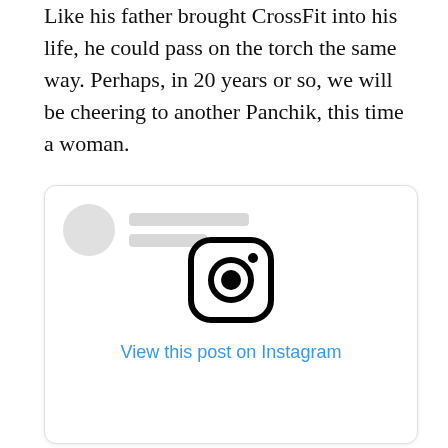Like his father brought CrossFit into his life, he could pass on the torch the same way. Perhaps, in 20 years or so, we will be cheering to another Panchik, this time a woman.
[Figure (screenshot): An embedded Instagram post placeholder card with a grey avatar circle, two grey placeholder bars for the username, a centered Instagram camera logo icon, and a blue 'View this post on Instagram' link.]